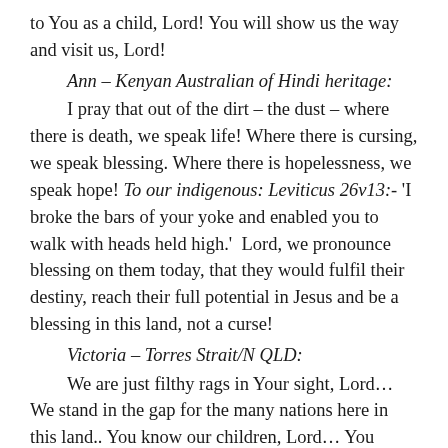to You as a child, Lord! You will show us the way and visit us, Lord!
Ann – Kenyan Australian of Hindi heritage:
I pray that out of the dirt – the dust – where there is death, we speak life! Where there is cursing, we speak blessing. Where there is hopelessness, we speak hope! To our indigenous: Leviticus 26v13:- 'I broke the bars of your yoke and enabled you to walk with heads held high.'  Lord, we pronounce blessing on them today, that they would fulfil their destiny, reach their full potential in Jesus and be a blessing in this land, not a curse!
Victoria – Torres Strait/N QLD:
We are just filthy rags in Your sight, Lord… We stand in the gap for the many nations here in this land.. You know our children, Lord… You know their hearts, Lord… We bind those spirits, Lord… Thank You for what You are doing, Lord – for our people in the Centre – for the Pitjantjatjara tribe, Lord… for the new beginning, Lord… Thank You, Yeshua,